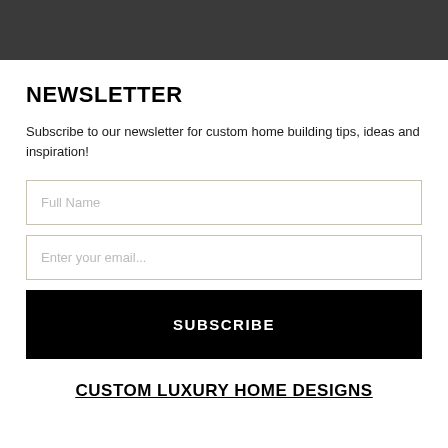NEWSLETTER
Subscribe to our newsletter for custom home building tips, ideas and inspiration!
Full Name
Enter your email...
SUBSCRIBE
CUSTOM LUXURY HOME DESIGNS